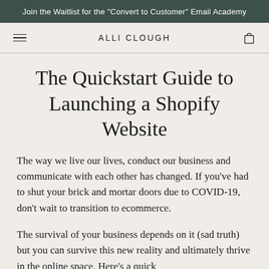Join the Waitlist for the "Convert to Customer" Email Academy
ALLI CLOUGH
The Quickstart Guide to Launching a Shopify Website
The way we live our lives, conduct our business and communicate with each other has changed. If you've had to shut your brick and mortar doors due to COVID-19, don't wait to transition to ecommerce.
The survival of your business depends on it (sad truth) but you can survive this new reality and ultimately thrive in the online space. Here's a quick